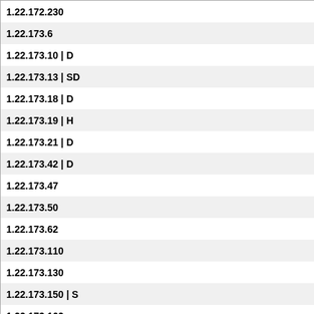| IP Address | Country |
| --- | --- |
| 1.22.172.230 | IN |
| 1.22.173.6 | IN |
| 1.22.173.10 | D | IN |
| 1.22.173.13 | SD | IN |
| 1.22.173.18 | D | IN |
| 1.22.173.19 | H | IN |
| 1.22.173.21 | D | IN |
| 1.22.173.42 | D | IN |
| 1.22.173.47 | IN |
| 1.22.173.50 | IN |
| 1.22.173.62 | IN |
| 1.22.173.110 | IN |
| 1.22.173.130 | IN |
| 1.22.173.150 | S | IN |
| 1.22.173.162 | IN |
| 1.22.173.170 | IN |
| 1.22.173.178 | IN |
0 comment(s) - Comment on this IP
Privacy Policy | Terms of Use | About Project Honey Pot | FAQ | Copyright © 2004–22, Unspam Technologies, Inc. Advertisements displayed on this page are not necessarily endorsed by Project Honey Pot